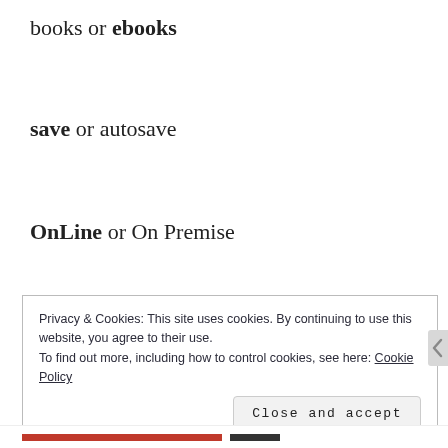books or ebooks
save or autosave
OnLine or On Premise
Privacy & Cookies: This site uses cookies. By continuing to use this website, you agree to their use.
To find out more, including how to control cookies, see here: Cookie Policy
Close and accept